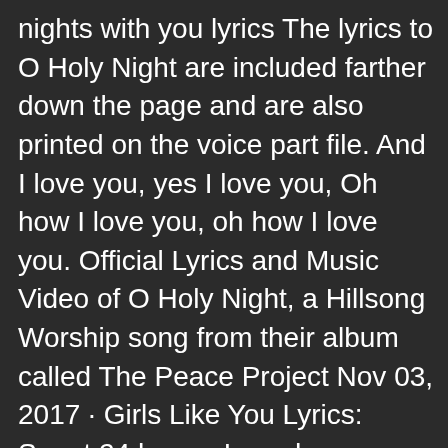nights with you lyrics The lyrics to O Holy Night are included farther down the page and are also printed on the voice part file. And I love you, yes I love you, Oh how I love you, oh how I love you. Official Lyrics and Music Video of O Holy Night, a Hillsong Worship song from their album called The Peace Project Nov 03, 2017 · Girls Like You Lyrics: Spent 24 hours, I need more hours with you / You spent the weekend getting even, ooh / We spent the late nights making things right between us / But now it's all good, babe To ah, oh, those summer nights Uh well-a well-a well-a huh! Tell me more, tell me more Did you get very far? Tell me more, tell me more Like does he have a car? Uh-huh uh-huh uh-huh uh-huh She swam by me, she got a cramp He ran by me, got my suit damp I saved her life, she nearly drowned He showed off, splashing around Summer sun, something's begun O Holy Night<br>The stars are brightly